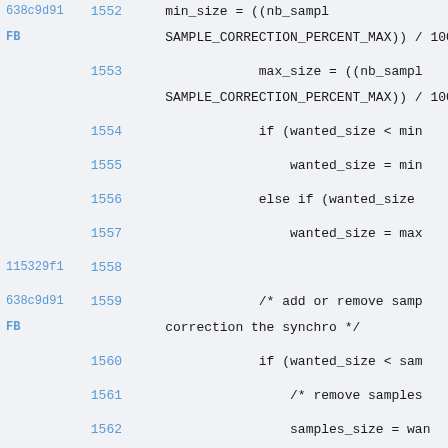Code listing lines 1552-1564, showing source code with git blame annotations (commit hashes and line numbers).
638c9d91 FB  1552    min_size = ((nb_sampl... SAMPLE_CORRECTION_PERCENT_MAX)) / 100) *
1553    max_size = ((nb_sampl... SAMPLE_CORRECTION_PERCENT_MAX)) / 100) *
1554    if (wanted_size < min...
1555    wanted_size = min...
1556    else if (wanted_size...
1557    wanted_size = max...
115329f1  1558
638c9d91 FB  1559    /* add or remove samp... correction the synchro */
1560    if (wanted_size < sam...
1561    /* remove samples...
1562    samples_size = wan...
1563    } else if (wanted_siz... samples_size) {
1564    uint8_t *samples...